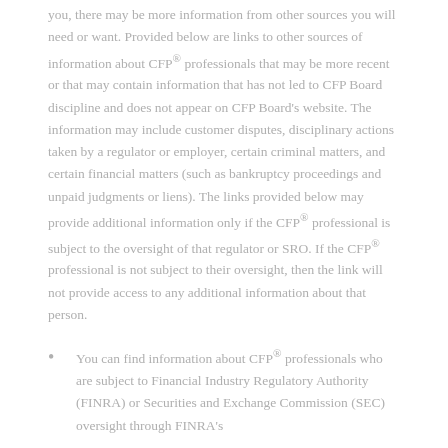you, there may be more information from other sources you will need or want. Provided below are links to other sources of information about CFP® professionals that may be more recent or that may contain information that has not led to CFP Board discipline and does not appear on CFP Board's website. The information may include customer disputes, disciplinary actions taken by a regulator or employer, certain criminal matters, and certain financial matters (such as bankruptcy proceedings and unpaid judgments or liens). The links provided below may provide additional information only if the CFP® professional is subject to the oversight of that regulator or SRO. If the CFP® professional is not subject to their oversight, then the link will not provide access to any additional information about that person.
You can find information about CFP® professionals who are subject to Financial Industry Regulatory Authority (FINRA) or Securities and Exchange Commission (SEC) oversight through FINRA's